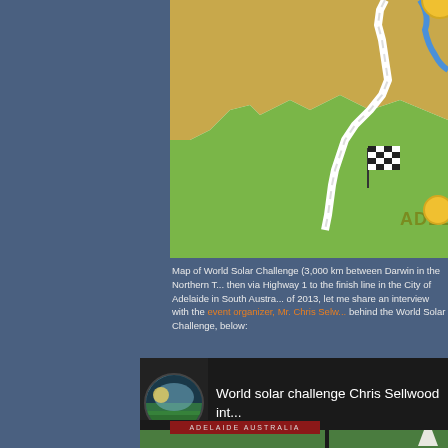[Figure (map): Partial map of Australia showing the World Solar Challenge route, with green landmass, road lines, checkered flag icon, and ADELAIDE label in olive/green text at the finish line in the bottom right.]
Map of World Solar Challenge (3,000 km between Darwin in the Northern T... then via Highway 1 to the finish line in the City of Adelaide in South Austra... of 2013, let me share an interview with the event organizer, Mr. Chris Selw... behind the World Solar Challenge, below:
[Figure (screenshot): YouTube video thumbnail showing 'World solar challenge Chris Sellwood int...' with a circular thumbnail image on the left and Adelaide Australia sign visible at the bottom of the video frame.]